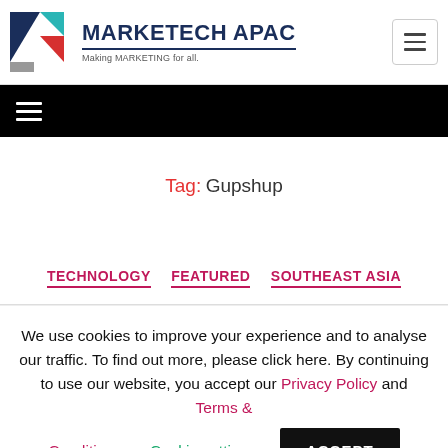[Figure (logo): MARKETECH APAC logo with geometric triangular shapes in navy, teal, red, and grey, with tagline 'Making MARKETING for all.']
≡ (hamburger menu icon)
Tag: Gupshup
TECHNOLOGY   FEATURED   SOUTHEAST ASIA
We use cookies to improve your experience and to analyse our traffic. To find out more, please click here. By continuing to use our website, you accept our Privacy Policy and Terms & Conditions.   Cookie settings   ACCEPT